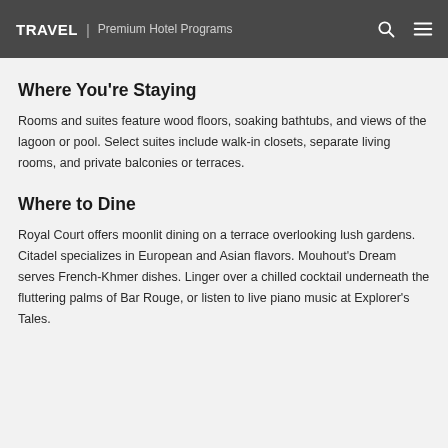TRAVEL | Premium Hotel Programs
Where You're Staying
Rooms and suites feature wood floors, soaking bathtubs, and views of the lagoon or pool. Select suites include walk-in closets, separate living rooms, and private balconies or terraces.
Where to Dine
Royal Court offers moonlit dining on a terrace overlooking lush gardens. Citadel specializes in European and Asian flavors. Mouhout's Dream serves French-Khmer dishes. Linger over a chilled cocktail underneath the fluttering palms of Bar Rouge, or listen to live piano music at Explorer's Tales.